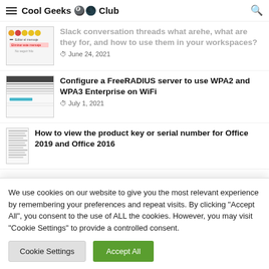Cool Geeks Club
[Figure (screenshot): Thumbnail screenshot of a Slack message context menu with emoji reactions and menu options including 'Eliminar este mensaje' highlighted in red]
Slack conversation threads what arehe, what are they for, and how to use them in your workspaces?
June 24, 2021
[Figure (screenshot): Thumbnail screenshot of a FreeRADIUS server configuration interface with dark header bar and highlighted blue text]
Configure a FreeRADIUS server to use WPA2 and WPA3 Enterprise on WiFi
July 1, 2021
[Figure (screenshot): Thumbnail screenshot of an Office product key or serial number view]
How to view the product key or serial number for Office 2019 and Office 2016
We use cookies on our website to give you the most relevant experience by remembering your preferences and repeat visits. By clicking "Accept All", you consent to the use of ALL the cookies. However, you may visit "Cookie Settings" to provide a controlled consent.